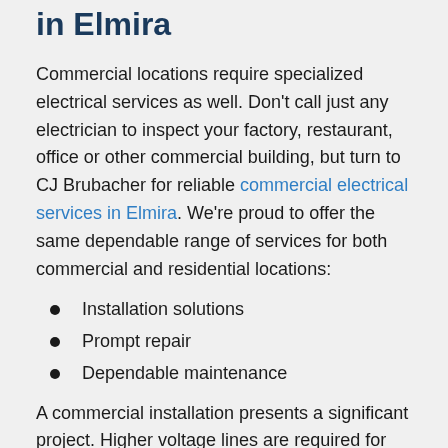in Elmira
Commercial locations require specialized electrical services as well. Don’t call just any electrician to inspect your factory, restaurant, office or other commercial building, but turn to CJ Brubacher for reliable commercial electrical services in Elmira. We’re proud to offer the same dependable range of services for both commercial and residential locations:
Installation solutions
Prompt repair
Dependable maintenance
A commercial installation presents a significant project. Higher voltage lines are required for large commercial equipment, and office buildings require significantly more outlets and lights than standard home electrical systems. Discuss the scope of your installation project from time-to-time...